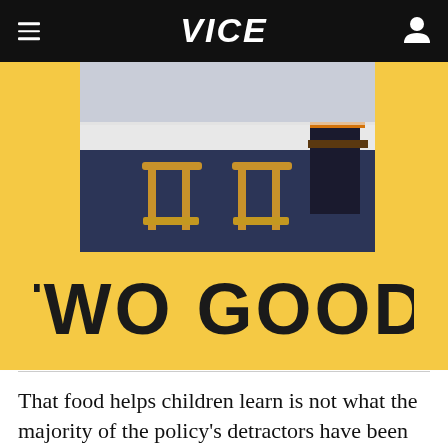VICE
[Figure (photo): Yellow background advertisement image with a kitchen scene photo above and 'TWO GOOD.' logo text in large bold black letters below on yellow background]
That food helps children learn is not what the majority of the policy's detractors have been